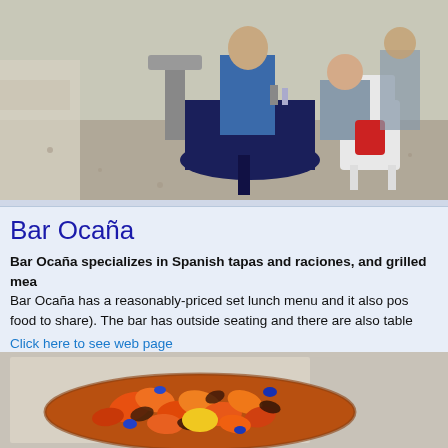[Figure (photo): Outdoor restaurant scene with people sitting at tables with dark blue tablecloths, white plastic chairs, on a gravel or stone patio]
Bar Ocaña
Bar Ocaña specializes in Spanish tapas and raciones, and grilled mea... Bar Ocaña has a reasonably-priced set lunch menu and it also pos... food to share). The bar has outside seating and there are also table...
Click here to see web page
[Figure (photo): A decorative dish or plate of Spanish tapas food - appears to be orange and yellow colored food items (possibly patatas bravas or similar tapas) arranged on a platter with dark accents]